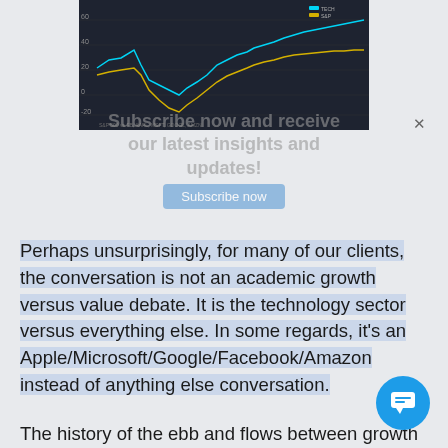[Figure (line-chart): Dark-themed multi-line chart showing stock performance comparison over time. Lines in cyan/blue and yellow/gold colors representing different stock indices or portfolios (S&P 500 vs FB, AAPL, MSFT, GOOGL, AMZN). Y-axis shows percentage changes, x-axis shows dates.]
Subscribe now and receive our latest insights and updates!
Perhaps unsurprisingly, for many of our clients, the conversation is not an academic growth versus value debate. It is the technology sector versus everything else. In some regards, it's an Apple/Microsoft/Google/Facebook/Amazon instead of anything else conversation.
The history of the ebb and flows between growth and value has a lesson. As do cautionary tales from previous titans of industry like Sears, Kodak, and Blockbuster. There is certainly money to be made, but